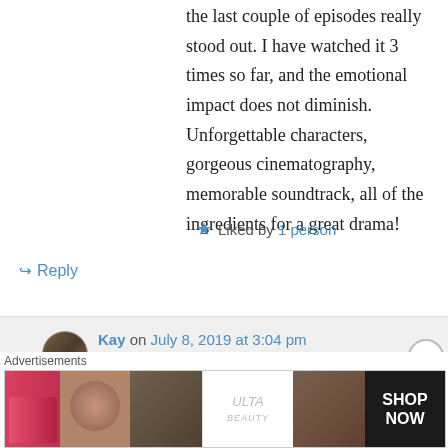the last couple of episodes really stood out. I have watched it 3 times so far, and the emotional impact does not diminish. Unforgettable characters, gorgeous cinematography, memorable soundtrack, all of the ingredients for a great drama!
Liked by 1 person
Reply
Kay on July 8, 2019 at 3:04 pm
Good pick for your favorite of 2018 🙂
Yeah, despite a few slow spots, it really had
Advertisements
[Figure (other): ULTA Beauty advertisement banner with cosmetic imagery and SHOP NOW text]